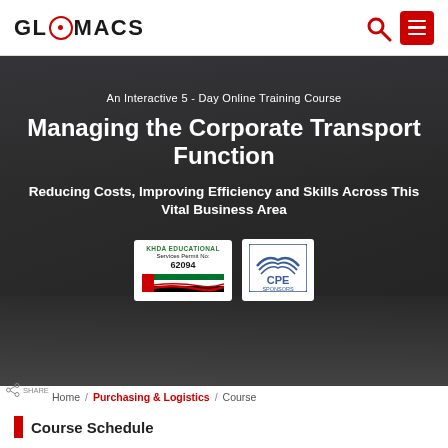GLOMACS
[Figure (photo): Hero banner showing a laptop screen with people on a video call, overlaid with course title text and certification badges. Background is a dark-tinted laptop/video call scene.]
An Interactive 5 - Day Online Training Course
Managing the Corporate Transport Function
Reducing Costs, Improving Efficiency and Skills Across This Vital Business Area
[Figure (logo): KHDA EDUCATIONAL Services Permit No: 62094 badge with UAE flag stripe design]
[Figure (logo): CPE SPONSORS badge/logo]
Home / Purchasing & Logistics / Course
Course Schedule